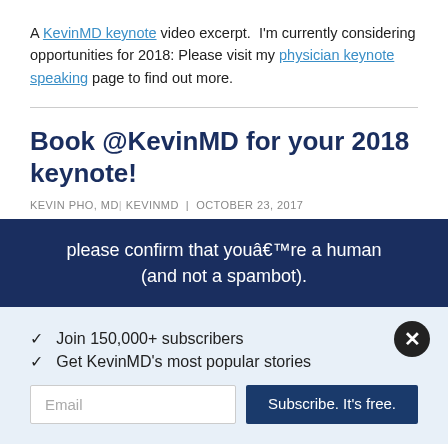A KevinMD keynote video excerpt.  I'm currently considering opportunities for 2018: Please visit my physician keynote speaking page to find out more.
Book @KevinMD for your 2018 keynote!
KEVIN PHO, MD | KEVINMD | OCTOBER 23, 2017
please confirm that youâ€™re a human (and not a spambot).
✓  Join 150,000+ subscribers
✓  Get KevinMD's most popular stories